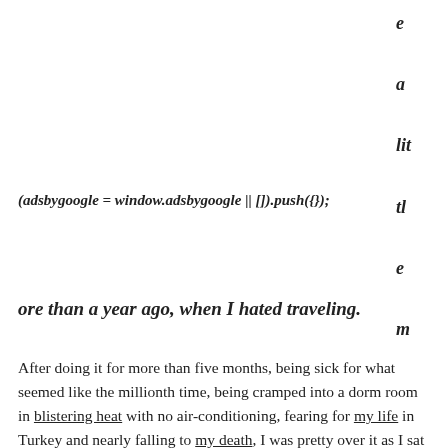e a lit tl e m
(adsbygoogle = window.adsbygoogle || []).push({});
ore than a year ago, when I hated traveling.
After doing it for more than five months, being sick for what seemed like the millionth time, being cramped into a dorm room in blistering heat with no air-conditioning, fearing for my life in Turkey and nearly falling to my death, I was pretty over it as I sat in an outdoor cafe in Varna, Bulgaria.
At that moment, I wanted to be done.
It hurt me deeply to admit that to myself. This trip was supposed to be